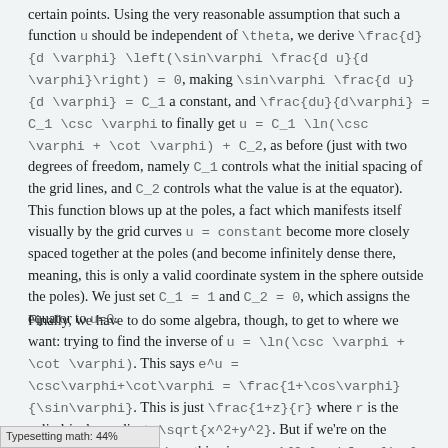certain points. Using the very reasonable assumption that such a function u should be independent of \theta, we derive \frac{d}{d \varphi} \left(\sin\varphi \frac{d u}{d \varphi}\right) = 0, making \sin\varphi \frac{d u}{d \varphi} = C_1 a constant, and \frac{du}{d\varphi} = C_1 \csc \varphi to finally get u = C_1 \ln(\csc \varphi + \cot \varphi) + C_2, as before (just with two degrees of freedom, namely C_1 controls what the initial spacing of the grid lines, and C_2 controls what the value is at the equator). This function blows up at the poles, a fact which manifests itself visually by the grid curves u = constant become more closely spaced together at the poles (and become infinitely dense there, meaning, this is only a valid coordinate system in the sphere outside the poles). We just set C_1 = 1 and C_2 = 0, which assigns the equator to u=0.
Finally, we have to do some algebra, though, to get to where we want: trying to find the inverse of u = \ln(\csc \varphi + \cot \varphi). This says e^u = \csc\varphi+\cot\varphi = \frac{1+\cos\varphi}{\sin\varphi}. This is just \frac{1+z}{r} where r is the cylindrical coordinate \sqrt{x^2+y^2}. But if we're on the sphere, z^2 + r^2 =1, so this gives us e^{2u} = \frac{1+z}{1-z}. Rearranging we get
Typesetting math: 44%